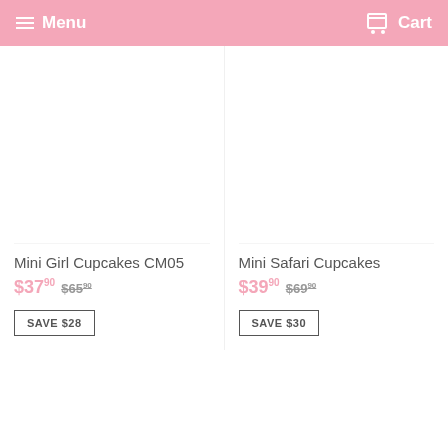Menu  Cart
Mini Girl Cupcakes CM05
$37.90  $65.90
SAVE $28
Mini Safari Cupcakes
$39.90  $69.90
SAVE $30